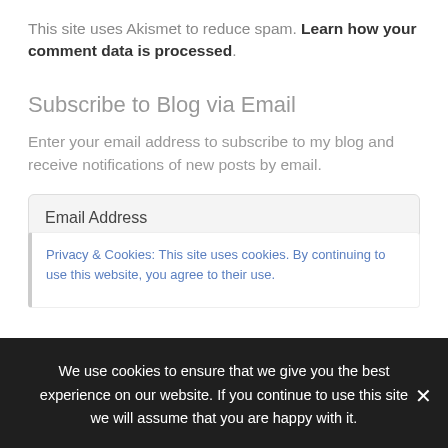This site uses Akismet to reduce spam. Learn how your comment data is processed.
Subscribe to Blog via Email
Enter your email address to subscribe to my blog and receive notifications of new posts by email.
Email Address
Privacy & Cookies: This site uses cookies. By continuing to use this website, you agree to their use.
We use cookies to ensure that we give you the best experience on our website. If you continue to use this site we will assume that you are happy with it.